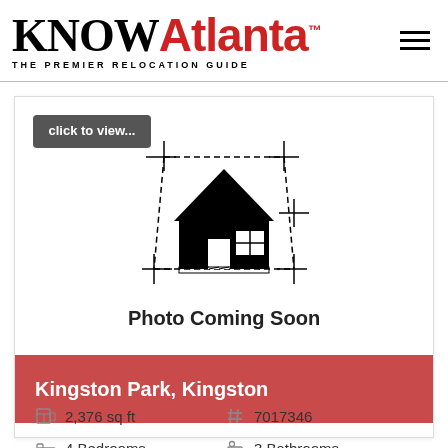KNOWAtlanta™ THE PREMIER RELOCATION GUIDE
[Figure (illustration): House blueprint/placeholder image with dashed measurement lines and 'Photo Coming Soon' text below]
Kingston Park, Kingston
2,376 sq ft
# 7017346
4 Bedrooms
3 Bathrooms